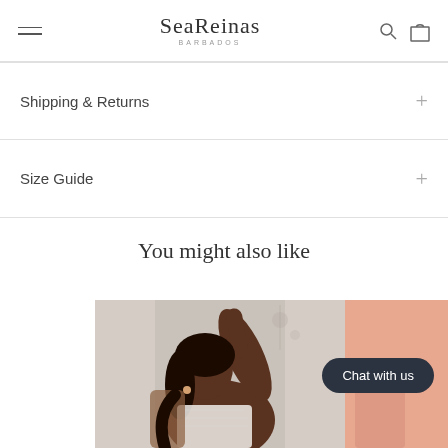SeaReinas BARBADOS
Shipping & Returns
Size Guide
You might also like
[Figure (photo): Fashion photo of a Black woman wearing a white lace top, posing with hand behind head, partial second photo with peach/salmon background visible on right edge]
Chat with us